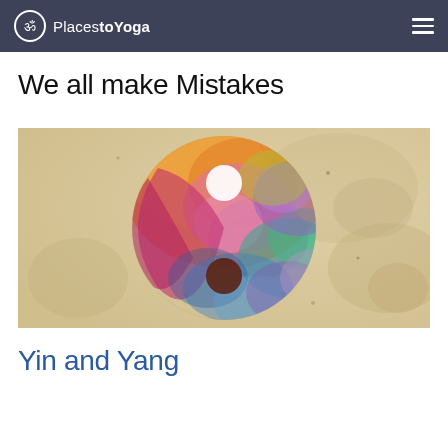PlacestoYoga
We all make Mistakes
[Figure (illustration): Colorful watercolor-style yin and yang symbol painted on aged paper background with orange, pink, purple, teal, and yellow hues]
Yin and Yang